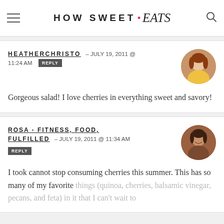HOW SWEET • eats
HEATHERCHRISTO — JULY 19, 2011 @ 11:24 AM  REPLY
Gorgeous salad! I love cherries in everything sweet and savory!
ROSA - FITNESS, FOOD, FULFILLED — JULY 19, 2011 @ 11:34 AM  REPLY
I took cannot stop consuming cherries this summer. This has so many of my favorite things (quinoa, cherries, balsamic vinegar, pecans, and feta) in it that I can't wait to